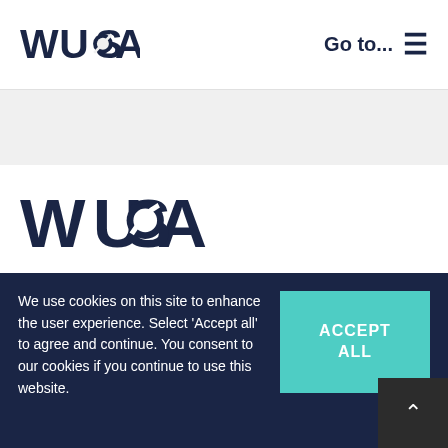WUSA    Go to...  ≡
[Figure (logo): WUSA logo large centered on white background]
WUSA welcomes you to contact any of our staff with your questions or inquiries. For departmental and individual contact details, view the Staff Directory Listing for more information.
We use cookies on this site to enhance the user experience. Select 'Accept all' to agree and continue. You consent to our cookies if you continue to use this website.